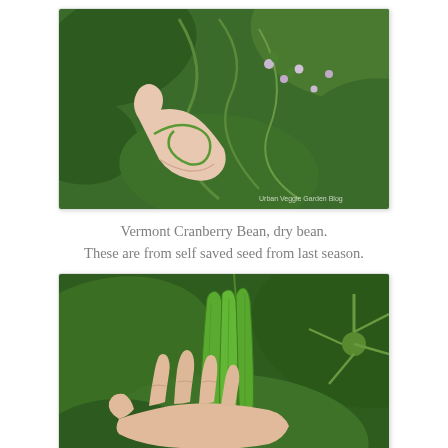[Figure (photo): Close-up photo of a hand holding a small curled bean stem/tendril among green leaves and small bean flowers on a plant. Watermark reads 'Urban Veggie Garden Blog'.]
Vermont Cranberry Bean, dry bean.
These are from self saved seed from last season.
[Figure (photo): Photo of a hand holding several green bean pods on the plant, surrounded by large green leaves. Watermark reads 'Urban Veggie Garden Blog'.]